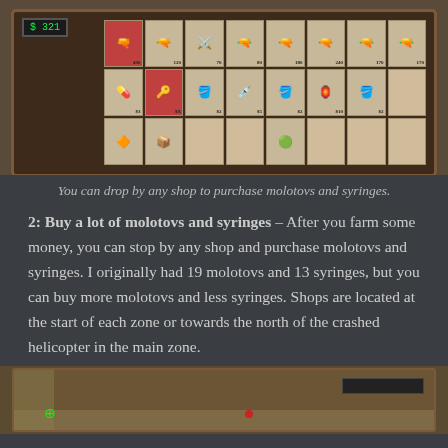[Figure (screenshot): Game screenshot showing a shop inventory UI with a money display showing $321, and a grid of weapon and item icons (guns, grenades, syringes, molotovs) with prices displayed below them.]
You can drop by any shop to purchase molotovs and syringes.
2: Buy a lot of molotovs and syringes – After you farm some money, you can stop by any shop and purchase molotovs and syringes. I originally had 19 molotovs and 13 syringes, but you can buy more molotovs and less syringes. Shops are located at the start of each zone or towards the north of the crashed helicopter in the main zone.
[Figure (screenshot): Game screenshot showing a top-down view of a game zone with buildings, a road, a green crosshair targeting indicator, a red enemy or item, and a HUD health/status bar in the upper right corner.]